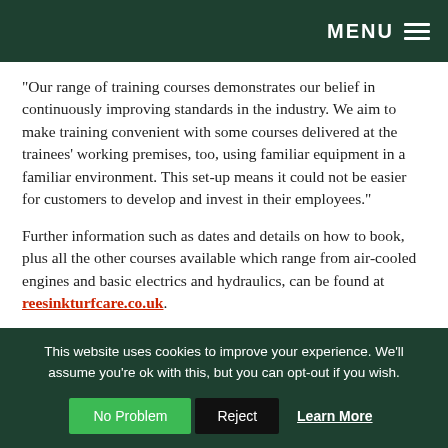MENU
“Our range of training courses demonstrates our belief in continuously improving standards in the industry. We aim to make training convenient with some courses delivered at the trainees’ working premises, too, using familiar equipment in a familiar environment. This set-up means it could not be easier for customers to develop and invest in their employees.”
Further information such as dates and details on how to book, plus all the other courses available which range from air-cooled engines and basic electrics and hydraulics, can be found at reesinkturfcare.co.uk.
This website uses cookies to improve your experience. We’ll assume you’re ok with this, but you can opt-out if you wish.